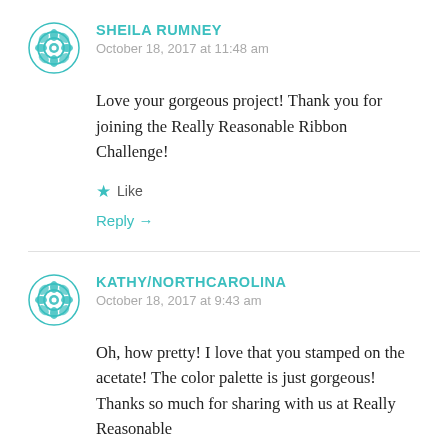SHEILA RUMNEY
October 18, 2017 at 11:48 am
Love your gorgeous project! Thank you for joining the Really Reasonable Ribbon Challenge!
Like
Reply →
KATHY/NORTHCAROLINA
October 18, 2017 at 9:43 am
Oh, how pretty! I love that you stamped on the acetate! The color palette is just gorgeous! Thanks so much for sharing with us at Really Reasonable